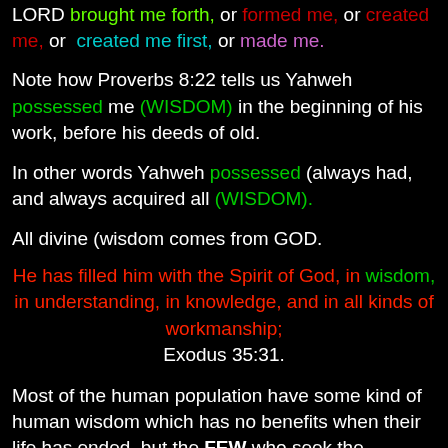LORD brought me forth, or formed me, or created me, or created me first, or made me.
Note how Proverbs 8:22 tells us Yahweh possessed me (WISDOM) in the beginning of his work, before his deeds of old.
In other words Yahweh possessed (always had, and always acquired all (WISDOM).
All divine (wisdom comes from GOD.
He has filled him with the Spirit of God, in wisdom, in understanding, in knowledge, and in all kinds of workmanship; Exodus 35:31.
Most of the human population have some kind of human wisdom which has no benefits when their life has ended, but the FEW who seek the kingdom of